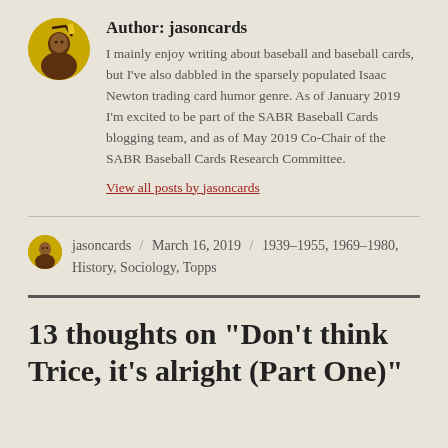Author: jasoncards
I mainly enjoy writing about baseball and baseball cards, but I've also dabbled in the sparsely populated Isaac Newton trading card humor genre. As of January 2019 I'm excited to be part of the SABR Baseball Cards blogging team, and as of May 2019 Co-Chair of the SABR Baseball Cards Research Committee.
View all posts by jasoncards
jasoncards / March 16, 2019 / 1939–1955, 1969–1980, History, Sociology, Topps
13 thoughts on “Don’t think Trice, it’s alright (Part One)”